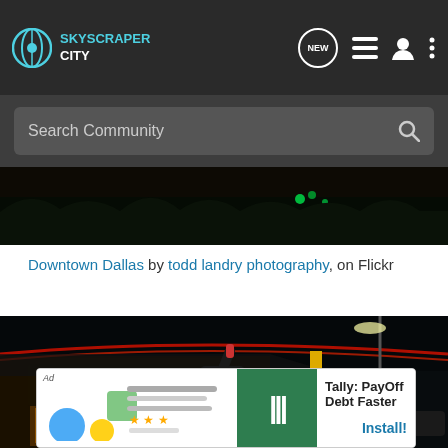SKYSCRAPER CITY
Search Community
[Figure (photo): Night aerial photo of Dallas city skyline with green and orange lights and dark tree silhouettes]
Downtown Dallas by todd landry photography, on Flickr
[Figure (photo): Night photo of a person raising a bottle in front of a McDonald's restaurant with motion blur light streaks]
Ad  Tally: PayOff Debt Faster  Install!